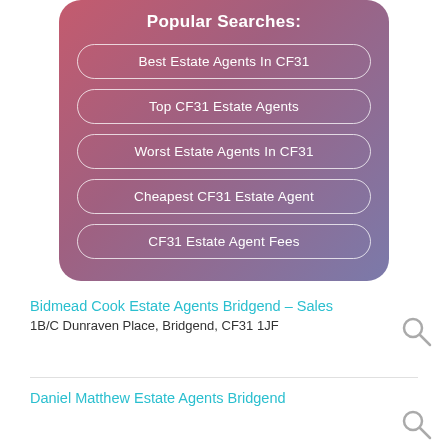Popular Searches:
Best Estate Agents In CF31
Top CF31 Estate Agents
Worst Estate Agents In CF31
Cheapest CF31 Estate Agent
CF31 Estate Agent Fees
Bidmead Cook Estate Agents Bridgend – Sales
1B/C Dunraven Place, Bridgend, CF31 1JF
Daniel Matthew Estate Agents Bridgend